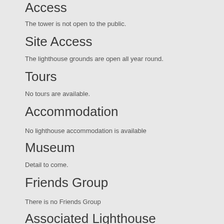Access
The tower is not open to the public.
Site Access
The lighthouse grounds are open all year round.
Tours
No tours are available.
Accommodation
No lighthouse accommodation is available
Museum
Detail to come.
Friends Group
There is no Friends Group
Associated Lighthouse